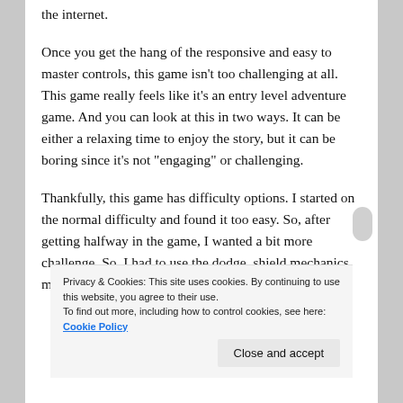the internet.
Once you get the hang of the responsive and easy to master controls, this game isn’t too challenging at all. This game really feels like it’s an entry level adventure game. And you can look at this in two ways. It can be either a relaxing time to enjoy the story, but it can be boring since it’s not “engaging” or challenging.
Thankfully, this game has difficulty options. I started on the normal difficulty and found it too easy. So, after getting halfway in the game, I wanted a bit more challenge. So, I had to use the dodge, shield mechanics more to defeat enemies and not rely on health drops.
Privacy & Cookies: This site uses cookies. By continuing to use this website, you agree to their use.
To find out more, including how to control cookies, see here: Cookie Policy
Close and accept